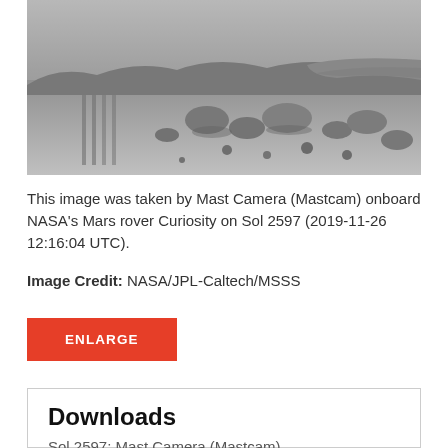[Figure (photo): Black and white photograph taken by Mast Camera (Mastcam) onboard NASA's Mars rover Curiosity showing rocky Martian terrain with rocks, boulders, and sandy ground on Sol 2597.]
This image was taken by Mast Camera (Mastcam) onboard NASA's Mars rover Curiosity on Sol 2597 (2019-11-26 12:16:04 UTC).
Image Credit: NASA/JPL-Caltech/MSSS
ENLARGE
Downloads
Sol 2597: Mast Camera (Mastcam)